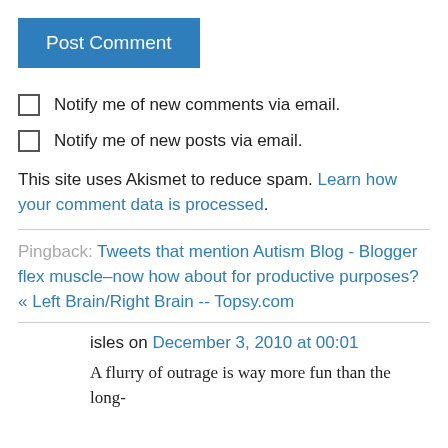Post Comment
Notify me of new comments via email.
Notify me of new posts via email.
This site uses Akismet to reduce spam. Learn how your comment data is processed.
Pingback: Tweets that mention Autism Blog - Blogger flex muscle–now how about for productive purposes? « Left Brain/Right Brain -- Topsy.com
isles on December 3, 2010 at 00:01
A flurry of outrage is way more fun than the long-